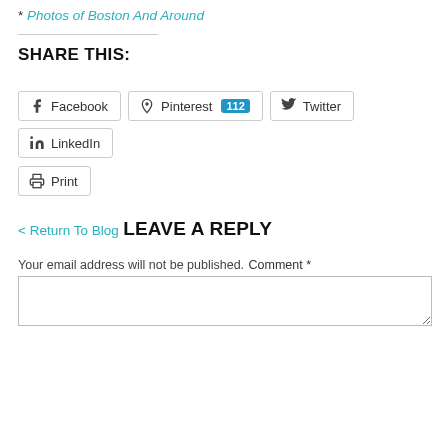* Photos of Boston And Around
SHARE THIS:
[Figure (other): Social sharing buttons: Facebook, Pinterest (112), Twitter, LinkedIn, Print]
< Return To Blog
LEAVE A REPLY
Your email address will not be published.
Comment *